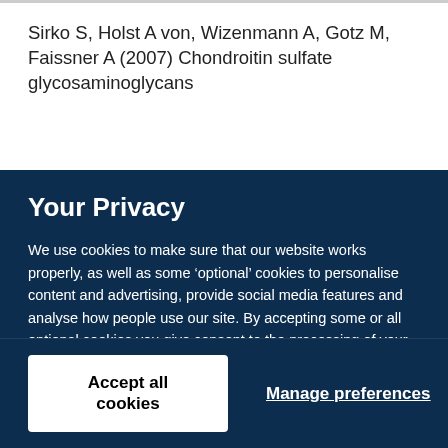Sirko S, Holst A von, Wizenmann A, Gotz M, Faissner A (2007) Chondroitin sulfate glycosaminoglycans
Your Privacy
We use cookies to make sure that our website works properly, as well as some ‘optional’ cookies to personalise content and advertising, provide social media features and analyse how people use our site. By accepting some or all optional cookies you give consent to the processing of your personal data, including transfer to third parties, some in countries outside of the European Economic Area that do not offer the same data protection standards as the country where you live. You can decide which optional cookies to accept by clicking on ‘Manage Settings’, where you can also find more information about how your personal data is processed. Further information can be found in our privacy policy.
Accept all cookies
Manage preferences